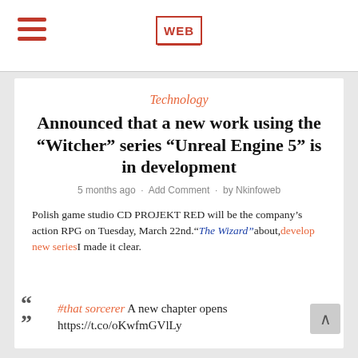WEB
Technology
Announced that a new work using the “Witcher” series “Unreal Engine 5” is in development
5 months ago · Add Comment · by Nkinfoweb
Polish game studio CD PROJEKT RED will be the company’s action RPG on Tuesday, March 22nd.“The Wizard”about,develop new seriesI made it clear.
#that sorcerer A new chapter opens https://t.co/oKwfmGVlLy